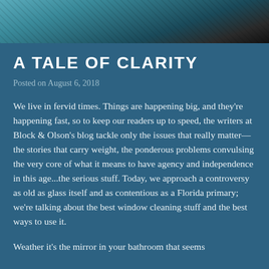[Figure (photo): Top portion of an image showing what appears to be a close-up of glass or reflective surface with teal/blue tones]
A TALE OF CLARITY
Posted on August 6, 2018
We live in fervid times. Things are happening big, and they're happening fast, so to keep our readers up to speed, the writers at Block & Olson's blog tackle only the issues that really matter—the stories that carry weight, the ponderous problems convulsing the very core of what it means to have agency and independence in this age...the serious stuff. Today, we approach a controversy as old as glass itself and as contentious as a Florida primary; we're talking about the best window cleaning stuff and the best ways to use it.
Weather it's the mirror in your bathroom that seems